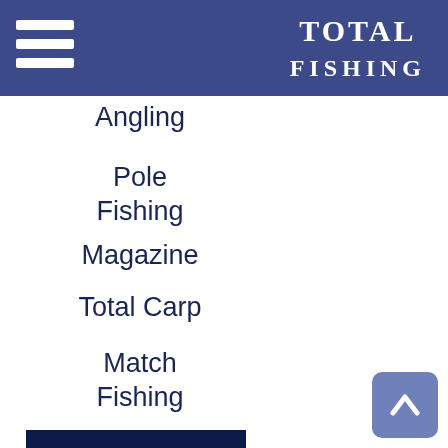TOTAL FISHING
Angling
Pole Fishing
Magazine
Total Carp
Match Fishing
UK Fisheries
Barston Lakes
The